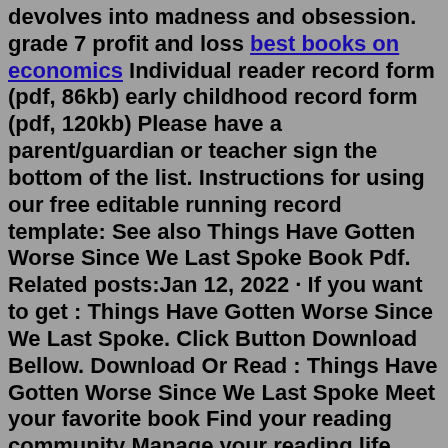devolves into madness and obsession. grade 7 profit and loss best books on economics Individual reader record form (pdf, 86kb) early childhood record form (pdf, 120kb) Please have a parent/guardian or teacher sign the bottom of the list. Instructions for using our free editable running record template: See also Things Have Gotten Worse Since We Last Spoke Book Pdf. Related posts:Jan 12, 2022 · If you want to get : Things Have Gotten Worse Since We Last Spoke. Click Button Download Bellow. Download Or Read : Things Have Gotten Worse Since We Last Spoke Meet your favorite book Find your reading community Manage your reading life. Available formats: PDF \ EPUB \ MOBI \ KINDLE \ AUDIOBOOK Suport on : Android \ Ipad \ Windows \ Mac OS ... Check out my thoughts on the Eric LaRocca novella Things Have Gotten Worse Since We Last Spoke.Get it here:https://www.barnesandnoble.com/w/things-have-gotte... Last week we did the seasons 1-4 ladies, now let's get it on with the season 5-8. Season 9 just ended,